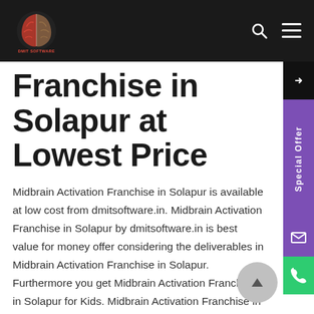DMIT Software navbar with logo, search and menu icons
Franchise in Solapur at Lowest Price
Midbrain Activation Franchise in Solapur is available at low cost from dmitsoftware.in. Midbrain Activation Franchise in Solapur by dmitsoftware.in is best value for money offer considering the deliverables in Midbrain Activation Franchise in Solapur. Furthermore you get Midbrain Activation Franchise in Solapur for Kids. Midbrain Activation Franchise in